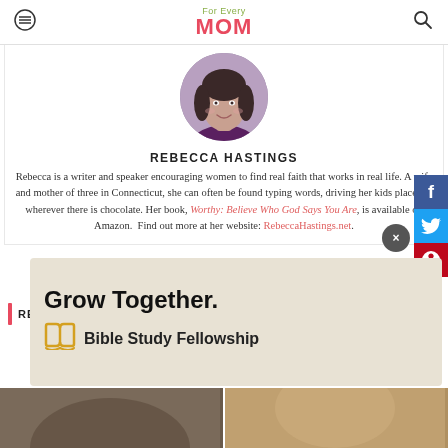For Every MOM
[Figure (photo): Circular profile photo of Rebecca Hastings, a woman with dark hair, smiling, wearing a purple top]
REBECCA HASTINGS
Rebecca is a writer and speaker encouraging women to find real faith that works in real life. A wife and mother of three in Connecticut, she can often be found typing words, driving her kids places or wherever there is chocolate. Her book, Worthy: Believe Who God Says You Are, is available on Amazon.  Find out more at her website: RebeccaHastings.net.
[Figure (infographic): Advertisement banner: Grow Together. Bible Study Fellowship]
RELATED
[Figure (photo): Two thumbnail photos at the bottom of the page]